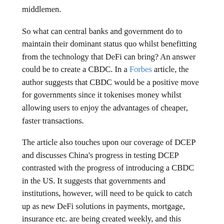middlemen.
So what can central banks and government do to maintain their dominant status quo whilst benefitting from the technology that DeFi can bring? An answer could be to create a CBDC. In a Forbes article, the author suggests that CBDC would be a positive move for governments since it tokenises money whilst allowing users to enjoy the advantages of cheaper, faster transactions.
The article also touches upon our coverage of DCEP and discusses China's progress in testing DCEP contrasted with the progress of introducing a CBDC in the US. It suggests that governments and institutions, however, will need to be quick to catch up as new DeFi solutions in payments, mortgage, insurance etc. are being created weekly, and this legion of fintech innovators are growing. These innovators challenge the status quo, and with the mounting advantages of DeFi, there may soon be a real contender vying for the attention of citizen-consumers.